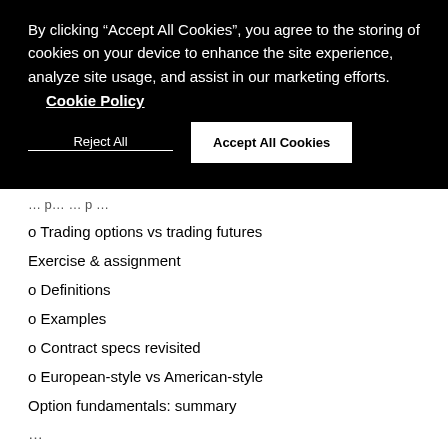By clicking “Accept All Cookies”, you agree to the storing of cookies on your device to enhance the site experience, analyze site usage, and assist in our marketing efforts.
Cookie Policy
[Figure (screenshot): Cookie consent banner with Reject All and Accept All Cookies buttons on black background]
...
o Trading options vs trading futures
Exercise & assignment
o Definitions
o Examples
o Contract specs revisited
o European-style vs American-style
Option fundamentals: summary
...